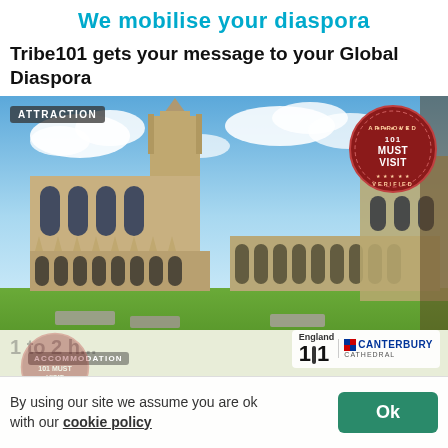We mobilise your diaspora
Tribe101 gets your message to your Global Diaspora
[Figure (photo): Photo of Canterbury Cathedral courtyard with Gothic architecture, green lawn, blue sky with clouds. Tagged 'ATTRACTION' in top left, '101 MUST VISIT' stamp in top right, England 101 Canterbury Cathedral logo in bottom right.]
Canterbury Cathedral
By using our site we assume you are ok with our cookie policy
Ok